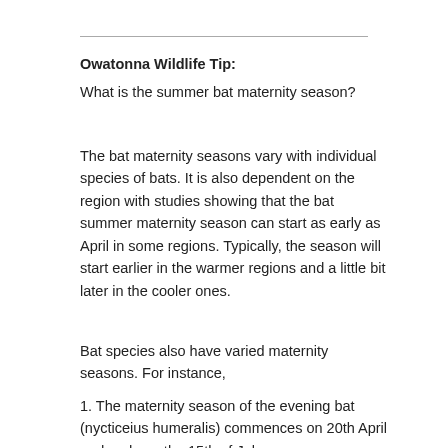Owatonna Wildlife Tip:
What is the summer bat maternity season?
The bat maternity seasons vary with individual species of bats. It is also dependent on the region with studies showing that the bat summer maternity season can start as early as April in some regions. Typically, the season will start earlier in the warmer regions and a little bit later in the cooler ones.
Bat species also have varied maternity seasons. For instance,
1. The maternity season of the evening bat (nycticeius humeralis) commences on 20th April and ends on the 15th of July.